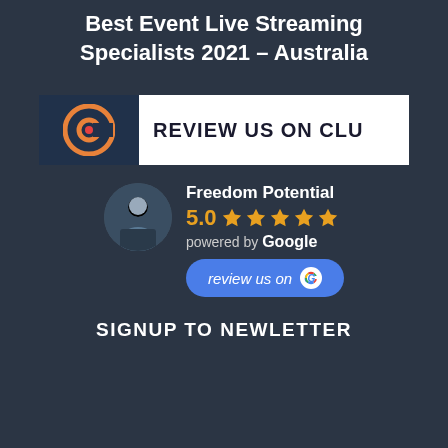Best Event Live Streaming Specialists 2021 – Australia
[Figure (logo): Clutch review banner with dark background on left showing letter C logo and white panel on right saying REVIEW US ON CLU (truncated)]
[Figure (infographic): Google review widget: circular avatar photo, Freedom Potential business name, 5.0 star rating with 5 orange stars, powered by Google text, and a blue 'review us on Google' button]
SIGNUP TO NEWLETTER